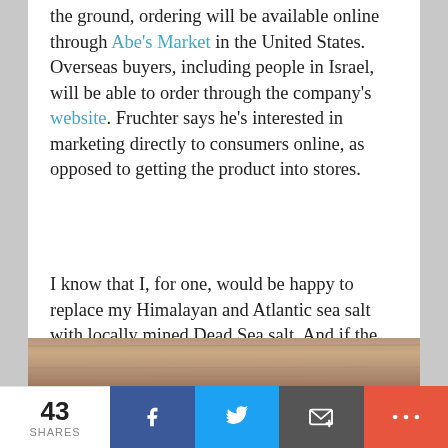the ground, ordering will be available online through Abe's Market in the United States. Overseas buyers, including people in Israel, will be able to order through the company's website. Fruchter says he's interested in marketing directly to consumers online, as opposed to getting the product into stores.
I know that I, for one, would be happy to replace my Himalayan and Atlantic sea salt with locally mined Dead Sea salt. And if the world follows suit, I'll be proud to see a local product making such an international impact.
[Figure (photo): Partial view of a wooden surface or product, cropped at bottom of page]